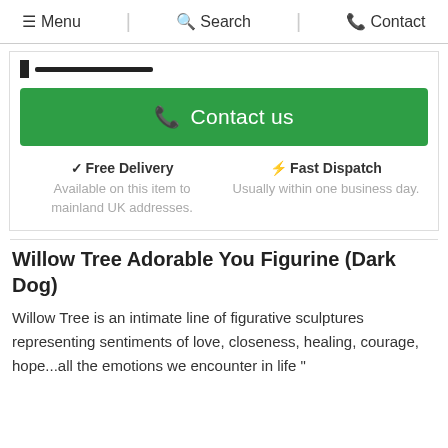☰ Menu  🔍 Search  📞 Contact
[Figure (other): Brand logo bar with black rectangle and black bar]
📞 Contact us
✔ Free Delivery
Available on this item to mainland UK addresses.
⚡ Fast Dispatch
Usually within one business day.
Willow Tree Adorable You Figurine (Dark Dog)
Willow Tree is an intimate line of figurative sculptures representing sentiments of love, closeness, healing, courage, hope...all the emotions we encounter in life "